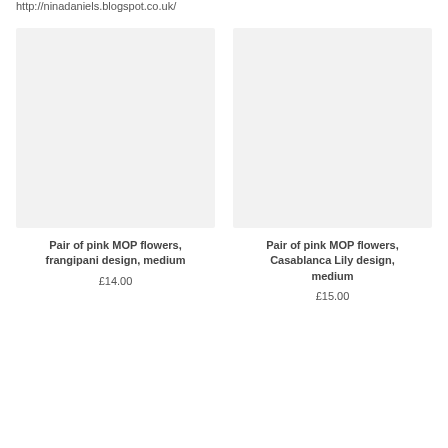http://ninadaniels.blogspot.co.uk/
[Figure (photo): Product image placeholder for Pair of pink MOP flowers, frangipani design, medium — light grey rectangle]
Pair of pink MOP flowers, frangipani design, medium
£14.00
[Figure (photo): Product image placeholder for Pair of pink MOP flowers, Casablanca Lily design, medium — light grey rectangle]
Pair of pink MOP flowers, Casablanca Lily design, medium
£15.00